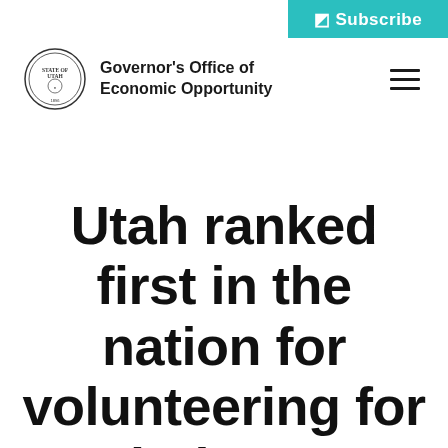Subscribe
[Figure (logo): Utah Governor's Office of Economic Opportunity seal and organization name]
Utah ranked first in the nation for volunteering for ninth year running